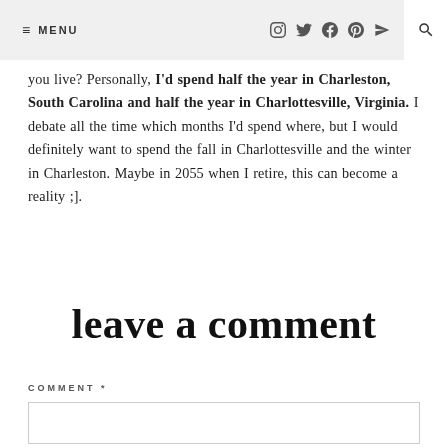≡ MENU  [icons: instagram, twitter, facebook, pinterest, send, search]
you live? Personally, I'd spend half the year in Charleston, South Carolina and half the year in Charlottesville, Virginia. I debate all the time which months I'd spend where, but I would definitely want to spend the fall in Charlottesville and the winter in Charleston. Maybe in 2055 when I retire, this can become a reality ;].
leave a comment
COMMENT *